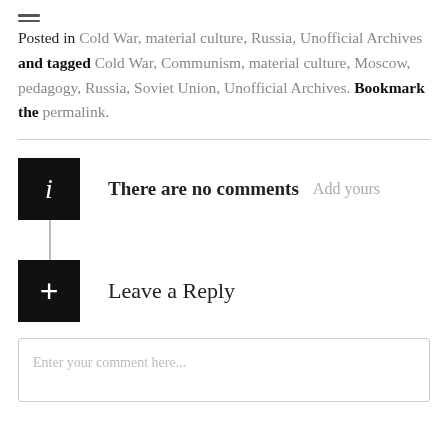Posted in Cold War, material culture, Russia, Unofficial Archives and tagged Cold War, Communism, material culture, Moscow, pedagogy, Russia, Soviet Union, Unofficial Archives. Bookmark the permalink.
There are no comments  Add yours
Leave a Reply
Enter your comment here...